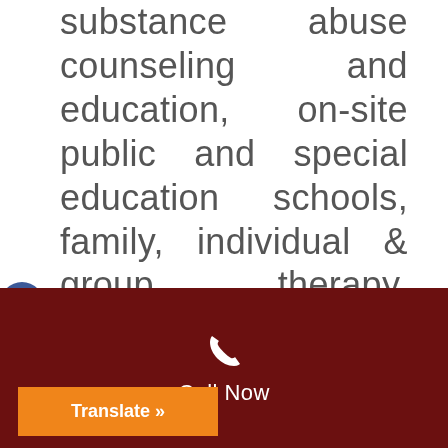substance abuse counseling and education, on-site public and special education schools, family, individual & group therapy, relapse prevention education, 12-step education and fellowship, comprehensive aftercare services, psychiatric services, medical & nursing
Call Now
Translate »